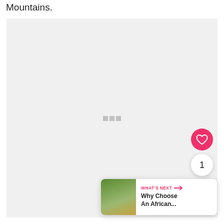Mountains.
[Figure (other): Large light gray placeholder image area with three small gray squares in the center indicating loading or missing media content]
[Figure (other): Pink circular heart/favorite button (like button)]
1
[Figure (other): Dark gray circular share button with share icon]
[Figure (other): What's Next card showing thumbnail image and text 'Why Choose An African...' with pink arrow label 'WHAT'S NEXT']